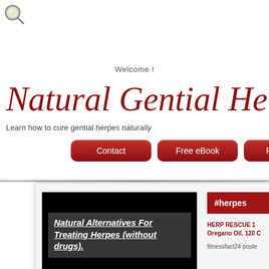[Figure (logo): Magnifier/search icon in top-left corner]
Welcome !
Natural Gential Herpes Relie
Learn how to cure gential herpes naturally
[Figure (screenshot): Navigation bar with red rounded buttons: Contact, Free eBook, and a partially visible third button]
[Figure (screenshot): Black video embed box showing text: Natural Alternatives For Treating Herpes (without drugs).]
#herpes
HERP RESCUE 1 Oregano Oil, 120 C
fitnessfact24 poste